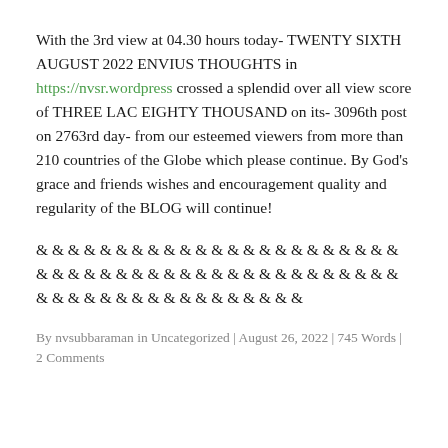With the 3rd view at 04.30 hours today- TWENTY SIXTH AUGUST 2022 ENVIUS THOUGHTS in https://nvsr.wordpress crossed a splendid over all view score of THREE LAC EIGHTY THOUSAND on its- 3096th post on 2763rd day- from our esteemed viewers from more than 210 countries of the Globe which please continue. By God's grace and friends wishes and encouragement quality and regularity of the BLOG will continue!
& & & & & & & & & & & & & & & & & & & & & & & & & & & & & & & & & & & & & & & & & & & & & & & & & & & & & & & & & & & & & & & &
By nvsubbaraman in Uncategorized | August 26, 2022 | 745 Words | 2 Comments